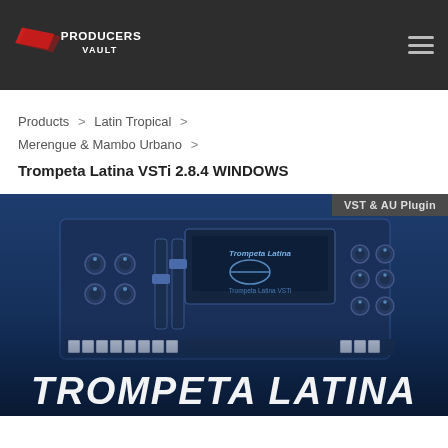Producers Vault — navigation header with logo and menu icon
Products > Latin Tropical > Merengue & Mambo Urbano > Trompeta Latina VSTi 2.8.4 WINDOWS
[Figure (screenshot): Product image for Trompeta Latina VSTi plugin showing a synthesizer interface with knobs and keys, overlaid with a blue tint. Text 'VST & AU Plugin' appears at top right, and 'TROMPETA LATINA' in large bold italic letters at the bottom.]